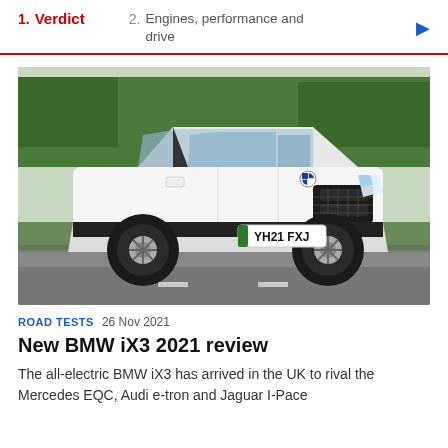1. Verdict  2. Engines, performance and drive
[Figure (photo): White BMW iX3 electric SUV (registration YH21 FXJ) driving on a road with green trees in the background]
ROAD TESTS  26 Nov 2021
New BMW iX3 2021 review
The all-electric BMW iX3 has arrived in the UK to rival the Mercedes EQC, Audi e-tron and Jaguar I-Pace